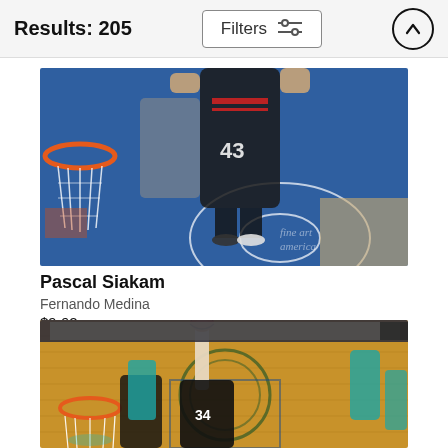Results: 205
[Figure (photo): Overhead/bird's-eye view basketball photo showing Pascal Siakam dunking near a basketball hoop on a blue court, with opponents nearby. Fine Art America watermark visible.]
Pascal Siakam
Fernando Medina
$9.62
[Figure (photo): Basketball photo showing a Milwaukee Bucks player going up for a layup on a hardwood court with the Bucks logo, with Charlotte Hornets players visible in background. Arena crowd visible.]